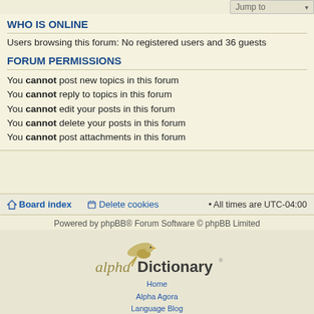WHO IS ONLINE
Users browsing this forum: No registered users and 36 guests
FORUM PERMISSIONS
You cannot post new topics in this forum
You cannot reply to topics in this forum
You cannot edit your posts in this forum
You cannot delete your posts in this forum
You cannot post attachments in this forum
Board index   Delete cookies • All times are UTC-04:00
Powered by phpBB® Forum Software © phpBB Limited
[Figure (logo): alphaDictionary logo with bird and text]
Home
Alpha Agora
Language Blog
Laughing Stock
Privacy Policy
About Us
Contact us
©2004-2022 Robert Beard All Rights Reserved.